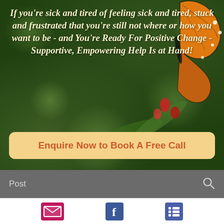[Figure (illustration): Background photo of monarch butterfly on red flowers with green bokeh background. Overlaid italic bold cream/yellow text reads: 'If you're sick and tired of feeling sick and tired, stuck and frustrated that you're still not where or how you want to be - and You're Ready For Positive Change - Supportive, Empowering Help Is at Hand!' with a peach/orange rounded button below reading 'Enquire Now to Book A Free Call'.]
Post
[Figure (infographic): Social media share bar with three icons: envelope/email icon (pink background), Facebook icon (blue), and list/menu icon (purple/blue).]